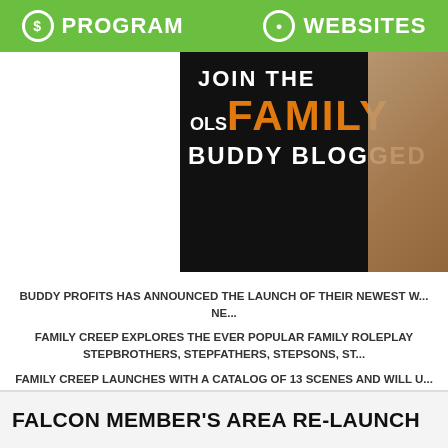PROGRAM   WEBSITES
[Figure (photo): Banner image showing 'JOIN THE FAMILY' text in orange and white on black background with 'OLS' and 'BUDDY BLOGGED' text]
BUDDY PROFITS HAS ANNOUNCED THE LAUNCH OF their newest w... NE...
FAMILY CREEP EXPLORES THE EVER POPULAR FAMILY ROLEPLAY STEPBROTHERS, STEPFATHERS, STEPSONS, ST...
FAMILY CREEP LAUNCHES WITH A CATALOG OF 13 SCENES AND WILL U... EXTENSIVE CATALOG OF PRIDE STUDIOS, INCL...
PROMOTIONAL TOOLS SUCH AS TRAILERS, BANNERS, DISCOUN... FAMILYCREEP.COM IS AVAILABLE FOR PROMOTION...
FOR MORE INFORMATION ABOUT THE BUDDY PROFITS...
FALCON MEMBER'S AREA RE-LAUNCH